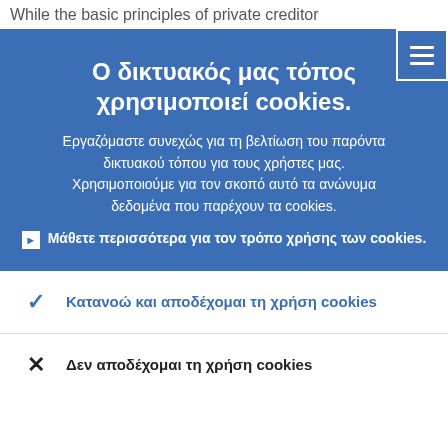While the basic principles of private creditor
Ο δικτυακός μας τόπος χρησιμοποιεί cookies.
Εργαζόμαστε συνεχώς για τη βελτίωση του παρόντα δικτυακού τόπου για τους χρήστες μας. Χρησιμοποιούμε για τον σκοπό αυτό τα ανώνυμα δεδομένα που παρέχουν τα cookies.
▶ Μάθετε περισσότερα για τον τρόπο χρήσης των cookies.
✓ Κατανοώ και αποδέχομαι τη χρήση cookies
✕ Δεν αποδέχομαι τη χρήση cookies